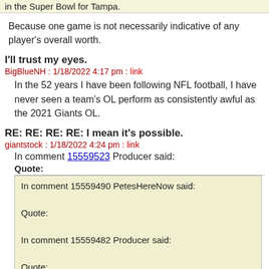in the Super Bowl for Tampa.
Because one game is not necessarily indicative of any player's overall worth.
I'll trust my eyes.
BigBlueNH : 1/18/2022 4:17 pm : link
In the 52 years I have been following NFL football, I have never seen a team's OL perform as consistently awful as the 2021 Giants OL.
RE: RE: RE: RE: I mean it's possible.
giantstock : 1/18/2022 4:24 pm : link
In comment 15559523 Producer said:
Quote:
In comment 15559490 PetesHereNow said:

Quote:

In comment 15559482 Producer said:

Quote: